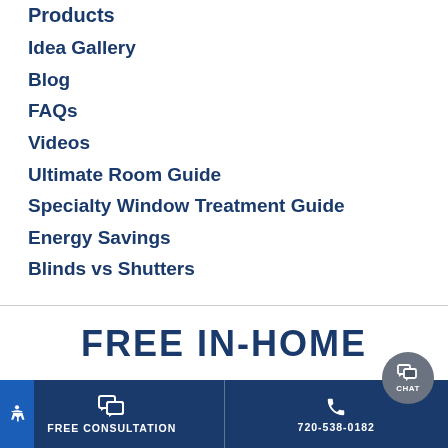Products
Idea Gallery
Blog
FAQs
Videos
Ultimate Room Guide
Specialty Window Treatment Guide
Energy Savings
Blinds vs Shutters
FREE IN-HOME
FREE CONSULTATION   720-538-0182   CHAT